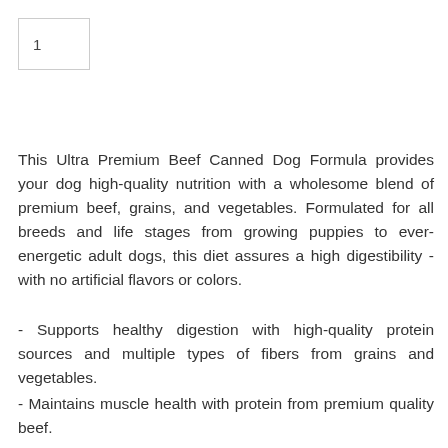1
This Ultra Premium Beef Canned Dog Formula provides your dog high-quality nutrition with a wholesome blend of premium beef, grains, and vegetables. Formulated for all breeds and life stages from growing puppies to ever-energetic adult dogs, this diet assures a high digestibility - with no artificial flavors or colors.
- Supports healthy digestion with high-quality protein sources and multiple types of fibers from grains and vegetables.
- Maintains muscle health with protein from premium quality beef.
- High-quality energy sources including wholesome oat bran, brown rice, and potatoes.